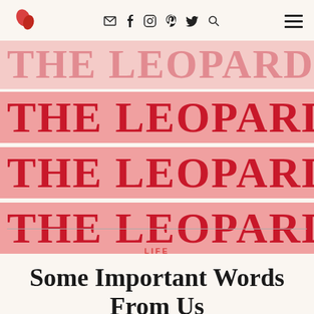Logo | mail, facebook, instagram, pinterest, twitter, search | hamburger menu
[Figure (illustration): Repeating bold red text 'THE LEOPARD' on pink/salmon background highlight strips, stacked four times with the topmost row partially cropped]
LIFE
Some Important Words From Us